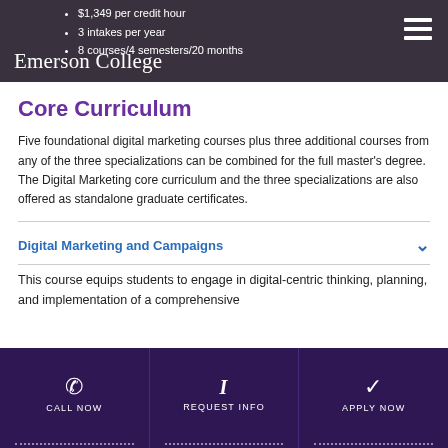Emerson College
$1,349 per credit hour
3 intakes per year
8 courses/4 semesters/20 months
Core Curriculum
Five foundational digital marketing courses plus three additional courses from any of the three specializations can be combined for the full master’s degree. The Digital Marketing core curriculum and the three specializations are also offered as standalone graduate certificates.
Digital Marketing and Campaigns
This course equips students to engage in digital-centric thinking, planning, and implementation of a comprehensive
CALL NOW | REQUEST INFO | APPLY NOW